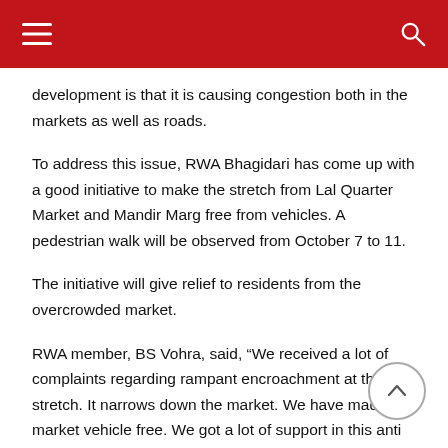development is that it is causing congestion both in the markets as well as roads.
To address this issue, RWA Bhagidari has come up with a good initiative to make the stretch from Lal Quarter Market and Mandir Marg free from vehicles. A pedestrian walk will be observed from October 7 to 11.
The initiative will give relief to residents from the overcrowded market.
RWA member, BS Vohra, said, “We received a lot of complaints regarding rampant encroachment at the stretch. It narrows down the market. We have made the market vehicle free. We got a lot of support in this anti encroachment drive.”
A trial pedestrian walk will start from Monday. We will try to